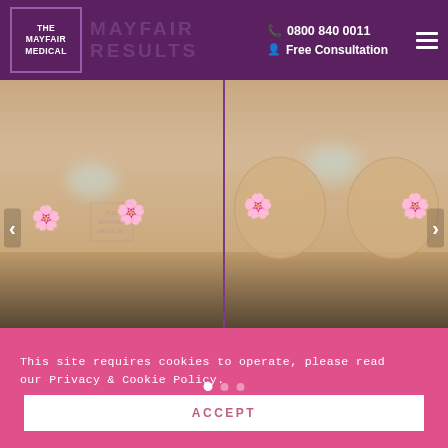THE MAYFAIR MEDICAL | MAYFAIR RESULTS | 0800 840 0011 | Free Consultation
[Figure (photo): Before and after breast augmentation surgery photos side by side. Left image shows pre-surgery, right image shows post-surgery results. Both images have flower emoji censor marks. Watermark reads 'THE MAYFAIR MEDICAL'.]
This site requires cookies to operate, please read our Privacy & Cookie Policy.
ACCEPT